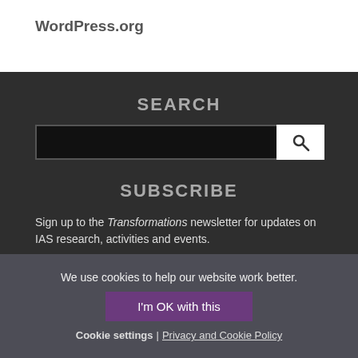WordPress.org
SEARCH
SUBSCRIBE
Sign up to the Transformations newsletter for updates on IAS research, activities and events.
We use cookies to help our website work better.
I'm OK with this
Cookie settings | Privacy and Cookie Policy